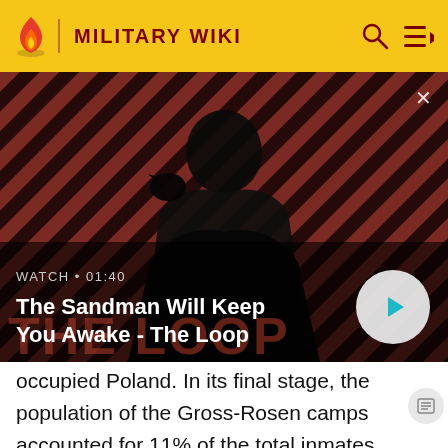MILITARY WIKI
[Figure (screenshot): Video thumbnail showing a dark figure with a raven on shoulder against a red diagonal striped background, with 'THE LOOP' text partially visible. Watch time 01:40. Title: The Sandman Will Keep You Awake - The Loop. Play button visible.]
occupied Poland. In its final stage, the population of the Gross-Rosen camps accounted for 11% of the total inmates in Nazi concentration camps at that time. A total of 125,000 inmates of various nationalities passed through the complex during its existence, of whom an